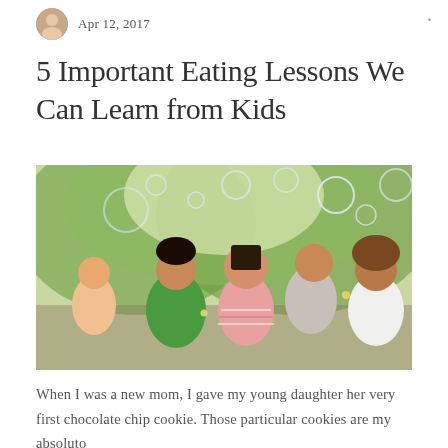Apr 12, 2017
5 Important Eating Lessons We Can Learn from Kids
[Figure (photo): A group of children outdoors blowing soap bubbles. The scene is bright and sunny with green trees in the background. Multiple children of different ethnicities are visible, some wearing striped shirts, blowing bubbles into the air.]
When I was a new mom, I gave my young daughter her very first chocolate chip cookie. Those particular cookies are my absoluto